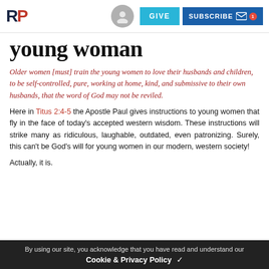RP | GIVE | SUBSCRIBE
young woman
Older women [must] train the young women to love their husbands and children, to be self-controlled, pure, working at home, kind, and submissive to their own husbands, that the word of God may not be reviled.
Here in Titus 2:4-5 the Apostle Paul gives instructions to young women that fly in the face of today's accepted western wisdom. These instructions will strike many as ridiculous, laughable, outdated, even patronizing. Surely, this can't be God's will for young women in our modern, western society!
Actually, it is.
By using our site, you acknowledge that you have read and understand our Cookie & Privacy Policy ✓